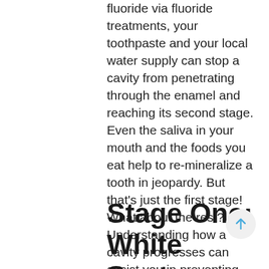fluoride via fluoride treatments, your toothpaste and your local water supply can stop a cavity from penetrating through the enamel and reaching its second stage. Even the saliva in your mouth and the foods you eat help to re-mineralize a tooth in jeopardy. But that's just the first stage! What about the rest? Understanding how a cavity progresses can assist you in preventing each successive stage from occurring in your children. There's always a lot going on in that little mouth!
Stage One: White Spots